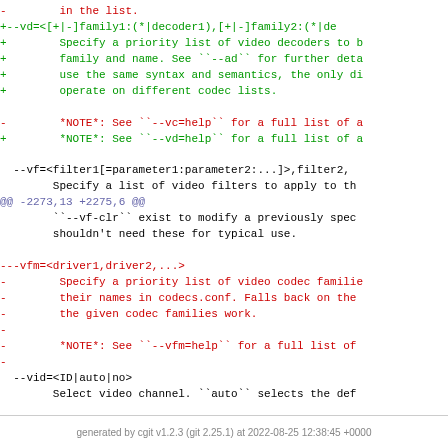diff code block showing git diff output with removed lines (red), added lines (green), hunk headers (blue), and context lines (black)
generated by cgit v1.2.3 (git 2.25.1) at 2022-08-25 12:38:45 +0000